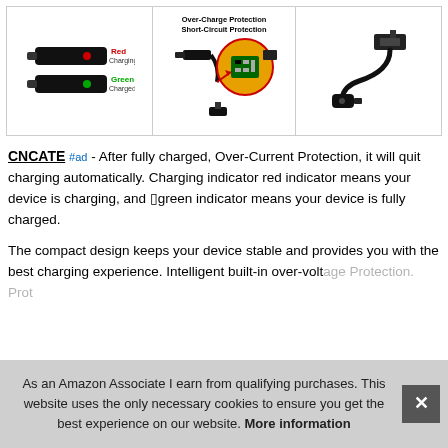[Figure (photo): Three-panel product image showing USB charger: left panel shows red indicator (Charging) and green indicator (Charged), middle panel shows Over-Charge Protection and Short-Circuit Protection circuit board closeup, right panel shows the USB charger cable.]
CNCATE #ad - After fully charged, Over-Current Protection, it will quit charging automatically. Charging indicator red indicator means your device is charging, and green indicator means your device is fully charged.
The compact design keeps your device stable and provides you with the best charging experience. Intelligent built-in over-volta... Prot...
As an Amazon Associate I earn from qualifying purchases. This website uses the only necessary cookies to ensure you get the best experience on our website. More information